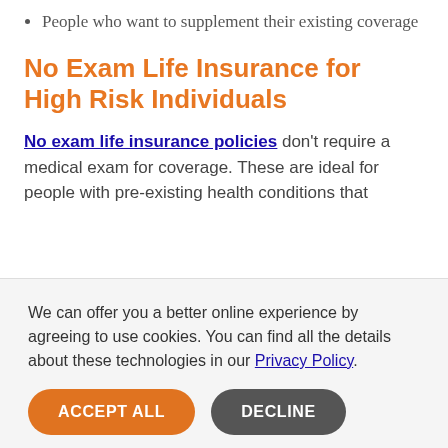People who want to supplement their existing coverage
No Exam Life Insurance for High Risk Individuals
No exam life insurance policies don't require a medical exam for coverage. These are ideal for people with pre-existing health conditions that
We can offer you a better online experience by agreeing to use cookies. You can find all the details about these technologies in our Privacy Policy.
means that some people with serious health